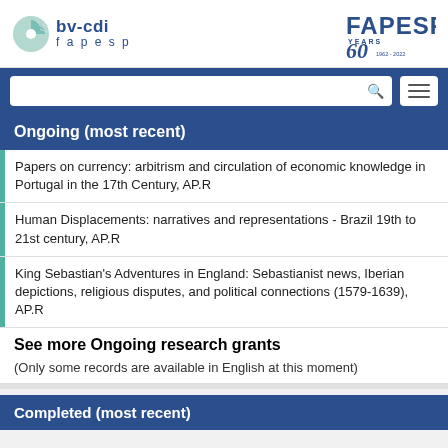[Figure (logo): bv-cdi fapesp logo on the left, and FAPESP 60 YEARS 1962-2022 logo on the right]
[Figure (screenshot): Search bar with magnifying glass icon and hamburger menu button]
Ongoing (most recent)
Papers on currency: arbitrism and circulation of economic knowledge in Portugal in the 17th Century, AP.R
Human Displacements: narratives and representations - Brazil 19th to 21st century, AP.R
King Sebastian's Adventures in England: Sebastianist news, Iberian depictions, religious disputes, and political connections (1579-1639), AP.R
See more Ongoing research grants
(Only some records are available in English at this moment)
Completed (most recent)